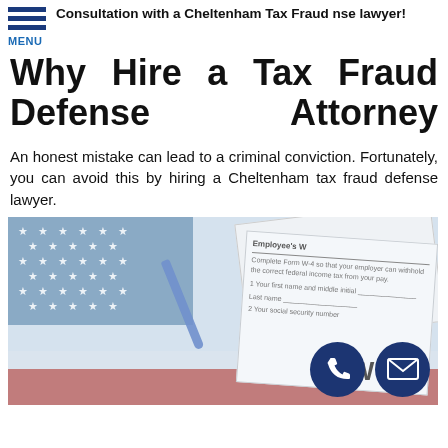Consultation with a Cheltenham Tax Fraud nse lawyer!
Why Hire a Tax Fraud Defense Attorney
An honest mistake can lead to a criminal conviction. Fortunately, you can avoid this by hiring a Cheltenham tax fraud defense lawyer.
[Figure (photo): American flag on the left with stars and red stripes, and tax form W-4 with a pen on the right. Two contact icons (phone and email) in the bottom right corner.]